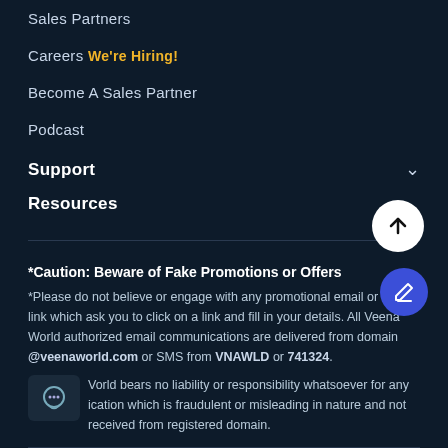Sales Partners
Careers We're Hiring!
Become A Sales Partner
Podcast
Support
Resources
*Caution: Beware of Fake Promotions or Offers
*Please do not believe or engage with any promotional email or Web-link which ask you to click on a link and fill in your details. All Veena World authorized email communications are delivered from domain @veenaworld.com or SMS from VNAWLD or 741324.
Veena World bears no liability or responsibility whatsoever for any communication which is fraudulent or misleading in nature and not received from registered domain.